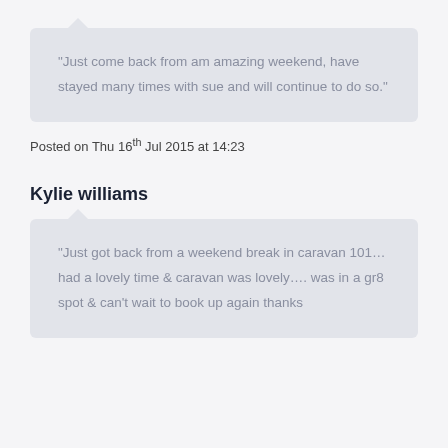“Just come back from am amazing weekend, have stayed many times with sue and will continue to do so.”
Posted on Thu 16th Jul 2015 at 14:23
Kylie williams
“Just got back from a weekend break in caravan 101… had a lovely time & caravan was lovely…. was in a gr8 spot & can’t wait to book up again thanks